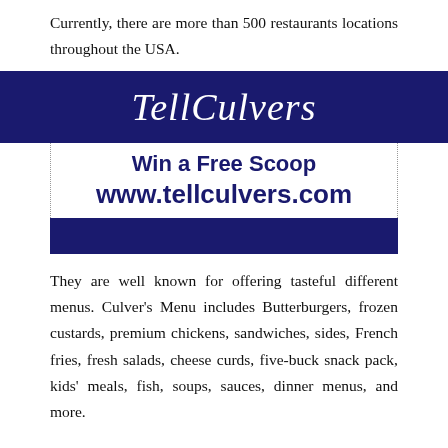Currently, there are more than 500 restaurants locations throughout the USA.
[Figure (infographic): Dark navy blue banner with italic white script text reading 'TellCulvers']
Win a Free Scoop
www.tellculvers.com
[Figure (infographic): Solid dark navy blue horizontal bar at the bottom of the promo box]
They are well known for offering tasteful different menus. Culver's Menu includes Butterburgers, frozen custards, premium chickens, sandwiches, sides, French fries, fresh salads, cheese curds, five-buck snack pack, kids' meals, fish, soups, sauces, dinner menus, and more.